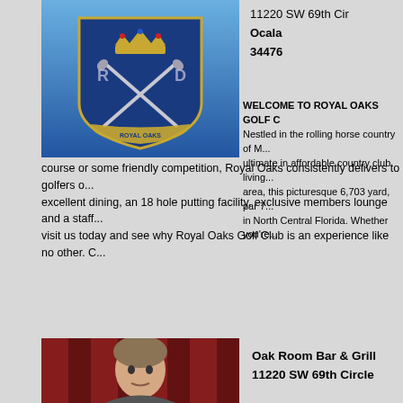[Figure (photo): Royal Oaks Golf Club crest/shield logo on blue background with crown and crossed golf clubs]
11220 SW 69th Cir
Ocala
34476
WELCOME TO ROYAL OAKS GOLF C... Nestled in the rolling horse country of M... ultimate in affordable country club living... area, this picturesque 6,703 yard, par 7... in North Central Florida. Whether you're... course or some friendly competition, Royal Oaks consistently delivers to golfers... excellent dining, an 18 hole putting facility, exclusive members lounge and a staff... visit us today and see why Royal Oaks Golf Club is an experience like no other. C...
[Figure (photo): Portrait photo of a person in front of red curtain background]
Oak Room Bar & Grill
11220 SW 69th Circle